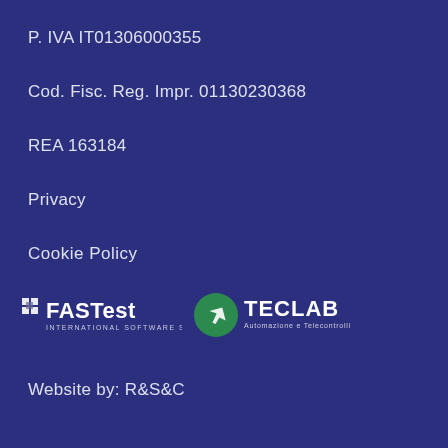P. IVA IT01306000355
Cod. Fisc. Reg. Impr. 01130230368
REA 163184
Privacy
Cookie Policy
[Figure (logo): FASTest International Software Service logo and TECLAB Automazione e Telecontrolli logo side by side on dark blue background]
Website by: R&S&C